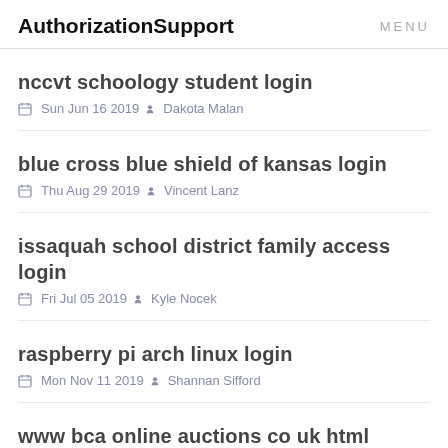AuthorizationSupport   MENU
nccvt schoology student login
Sun Jun 16 2019  Dakota Malan
blue cross blue shield of kansas login
Thu Aug 29 2019  Vincent Lanz
issaquah school district family access login
Fri Jul 05 2019  Kyle Nocek
raspberry pi arch linux login
Mon Nov 11 2019  Shannan Sifford
www bca online auctions co uk html